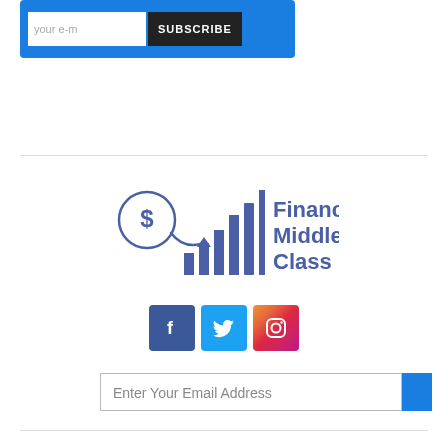[Figure (other): Email subscription box with blue background, email input field and SUBSCRIBE button]
[Figure (logo): Financial Middle Class logo with dollar sign, arrow, and bar chart icon in blue]
[Figure (other): Social media icons: Facebook (blue), Twitter (light blue), Instagram (gradient)]
Enter Your Email Address